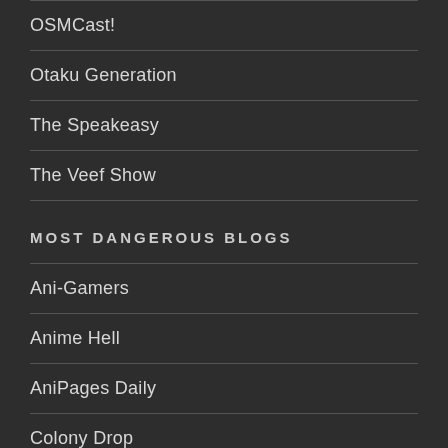OSMCast!
Otaku Generation
The Speakeasy
The Veef Show
MOST DANGEROUS BLOGS
Ani-Gamers
Anime Hell
AniPages Daily
Colony Drop
Corn Pone Flicks